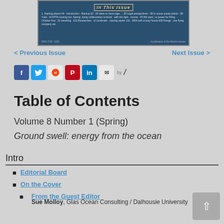[Figure (screenshot): Cover thumbnail of a marine journal issue with dark blue ocean background, 'In This Issue' heading in decorative text, small text listing contents, and footer with ISSN and publication info]
< Previous Issue    Next Issue >
[Figure (infographic): Row of social media share icons: Facebook (blue), Twitter (blue bird), Reddit (alien), Pinterest (red), LinkedIn (blue), Email (envelope), followed by 'by' text and a feather/quill logo]
Table of Contents
Volume 8 Number 1 (Spring)
Ground swell: energy from the ocean
Intro
Editorial Board
On the Cover
From the Guest Editor
Sue Molloy, Glas Ocean Consulting / Dalhousie University